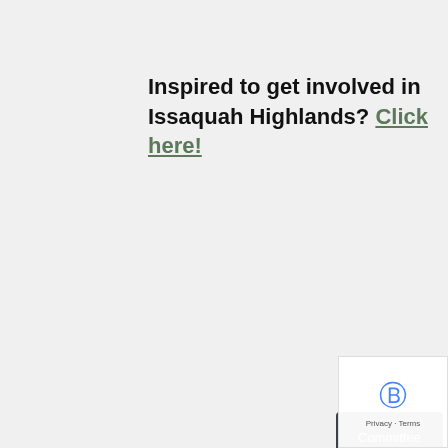Inspired to get involved in Issaquah Highlands? Click here!
Tags: Committee  IHCA  Volunteer Of The Month  Volunteers
[Figure (logo): Issaquah Insurance and BBB logo footer box]
[Figure (other): Privacy - Terms reCAPTCHA badge]